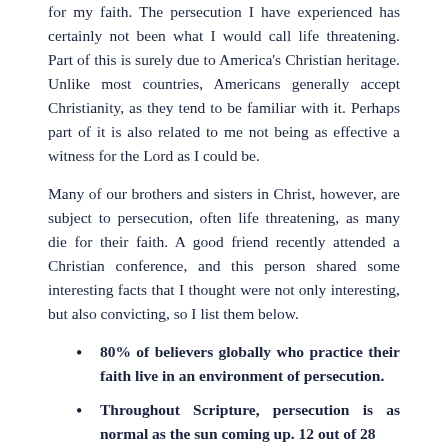for my faith.  The persecution I have experienced has certainly not been what I would call life threatening.  Part of this is surely due to America's Christian heritage.  Unlike most countries, Americans generally accept Christianity, as they tend to be familiar with it.  Perhaps part of it is also related to me not being as effective a witness for the Lord as I could be.
Many of our brothers and sisters in Christ, however, are subject to persecution, often life threatening, as many die for their faith.  A good friend recently attended a Christian conference, and this person shared some interesting facts that I thought were not only interesting, but also convicting, so I list them below.
80% of believers globally who practice their faith live in an environment of persecution.
Throughout Scripture, persecution is as normal as the sun coming up.  12 out of 28